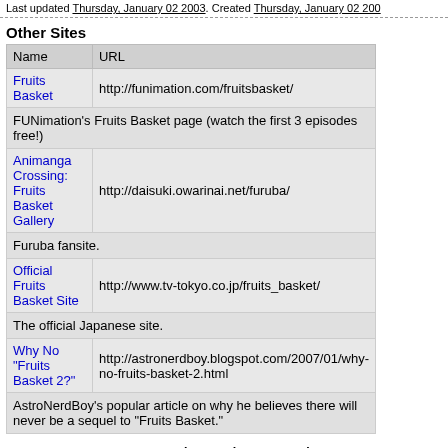Last updated Thursday, January 02 2003. Created Thursday, January 02 200...
Other Sites
| Name | URL |
| --- | --- |
| Fruits Basket | http://funimation.com/fruitsbasket/ |
| FUNimation's Fruits Basket page (watch the first 3 episodes free!) |  |
| Animanga Crossing: Fruits Basket Gallery | http://daisuki.owarinai.net/furuba/ |
| Furuba fansite. |  |
| Official Fruits Basket Site | http://www.tv-tokyo.co.jp/fruits_basket/ |
| The official Japanese site. |  |
| Why No "Fruits Basket 2?" | http://astronerdboy.blogspot.com/2007/01/why-no-fruits-basket-2.html |
| AstroNerdBoy's popular article on why he believes there will never be a sequel to "Fruits Basket." |  |
Community Anime Reviews